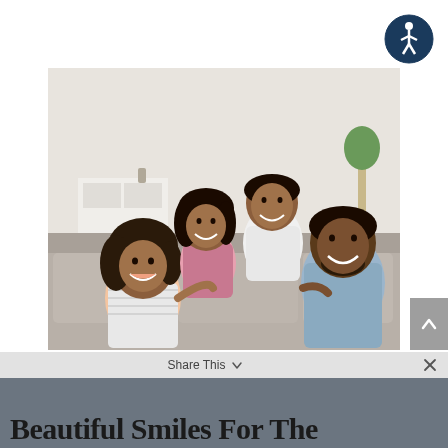[Figure (logo): Accessibility icon button — circular dark navy blue button with white wheelchair/person accessibility symbol]
[Figure (photo): A happy Black family of four — a mother, father, and two children — sitting together on a couch smiling, in a bright living room setting]
A local, Carmichael family who went to their Invisalign dentist for an Invisalign consultation.
Beautiful Smiles For The
Share This